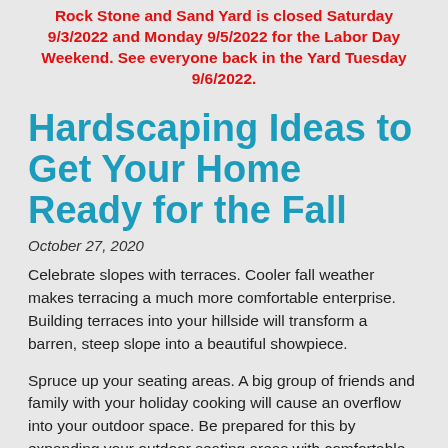Rock Stone and Sand Yard is closed Saturday 9/3/2022 and Monday 9/5/2022 for the Labor Day Weekend. See everyone back in the Yard Tuesday 9/6/2022.
Hardscaping Ideas to Get Your Home Ready for the Fall
October 27, 2020
Celebrate slopes with terraces. Cooler fall weather makes terracing a much more comfortable enterprise. Building terraces into your hillside will transform a barren, steep slope into a beautiful showpiece.
Spruce up your seating areas. A big group of friends and family with your holiday cooking will cause an overflow into your outdoor space. Be prepared for this by expanding your outdoor seating areas with comfortable